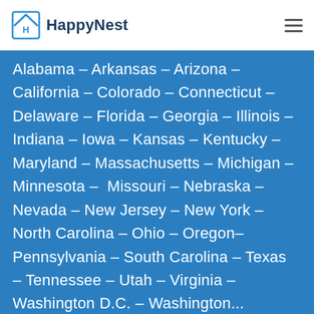HappyNest
Alabama – Arkansas – Arizona – California – Colorado – Connecticut – Delaware – Florida – Georgia – Illinois – Indiana – Iowa – Kansas – Kentucky – Maryland – Massachusetts – Michigan – Minnesota – Missouri – Nebraska – Nevada – New Jersey – New York – North Carolina – Ohio – Oregon– Pennsylvania – South Carolina – Texas – Tennessee – Utah – Virginia – Washington D.C. – Washington...